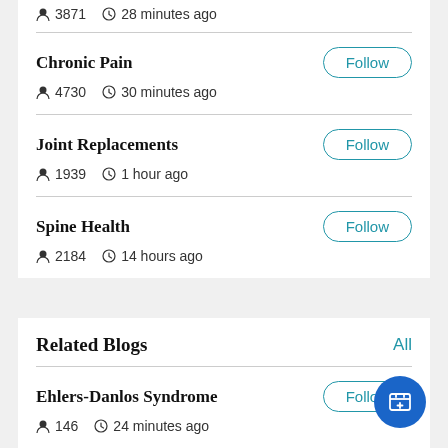Chronic Pain — 4730 followers, 30 minutes ago
Joint Replacements — 1939 followers, 1 hour ago
Spine Health — 2184 followers, 14 hours ago
Related Blogs
Ehlers-Danlos Syndrome — 146 followers, 24 minutes ago